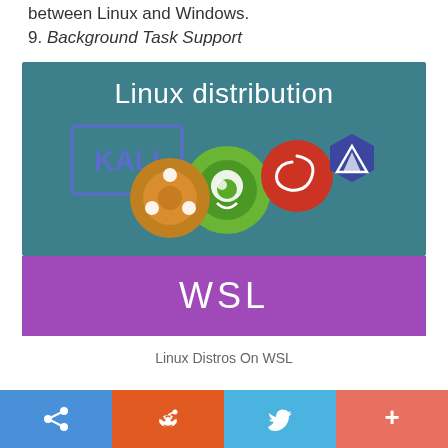between Linux and Windows.
9. Background Task Support
[Figure (illustration): Composite image showing Linux distribution logos (Kali, Ubuntu, openSUSE, Debian) on a teal background with text 'Linux distribution' above, and a purple banner below with text 'WSL']
Linux Distros On WSL
Share buttons: link, Reddit, Twitter, More